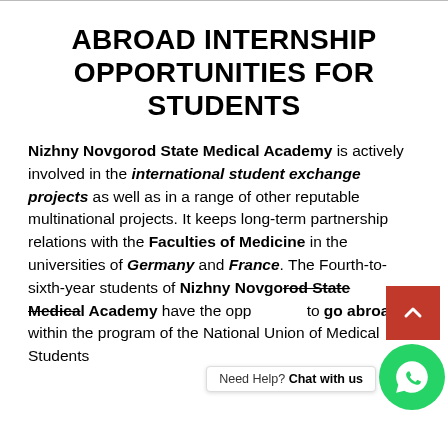ABROAD INTERNSHIP OPPORTUNITIES FOR STUDENTS
Nizhny Novgorod State Medical Academy is actively involved in the international student exchange projects as well as in a range of other reputable multinational projects. It keeps long-term partnership relations with the Faculties of Medicine in the universities of Germany and France. The Fourth-to-sixth-year students of Nizhny Novgorod State Medical Academy have the opportunity to go abroad within the program of the National Union of Medical Students.